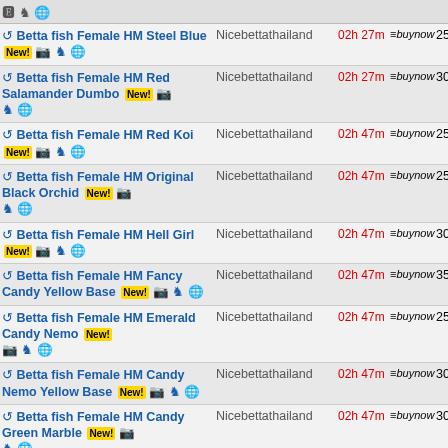Betta fish Female HM Steel Blue New! [cam][chess][globe] Nicebettathailand 02h 27m buynow 25.00 R
Betta fish Female HM Red Salamander Dumbo New! [cam][chess][globe] Nicebettathailand 02h 27m buynow 30.00 R
Betta fish Female HM Red Koi New! [cam][chess][globe] Nicebettathailand 02h 47m buynow 25.00 R
Betta fish Female HM Original Black Orchid New! [cam][chess][globe] Nicebettathailand 02h 47m buynow 25.00 R
Betta fish Female HM Hell Girl New! [cam][chess][globe] Nicebettathailand 02h 47m buynow 30.00 R
Betta fish Female HM Fancy Candy Yellow Base New! [cam][chess][globe] Nicebettathailand 02h 47m buynow 35.00 R
Betta fish Female HM Emerald Candy Nemo New! [cam][chess][globe] Nicebettathailand 02h 47m buynow 25.00 R
Betta fish Female HM Candy Nemo Yellow Base New! [cam][chess][globe] Nicebettathailand 02h 47m buynow 30.00 R
Betta fish Female HM Candy Green Marble New! [cam][chess][globe] Nicebettathailand 02h 47m buynow 30.00 R
HM WHITE PLATINUM!! [globe] Tantybettaconcept 03h 51m buynow 9.99 R
HM YELLOW BLUE Tantybettaconcept 03h 57m buynow 9.99 R